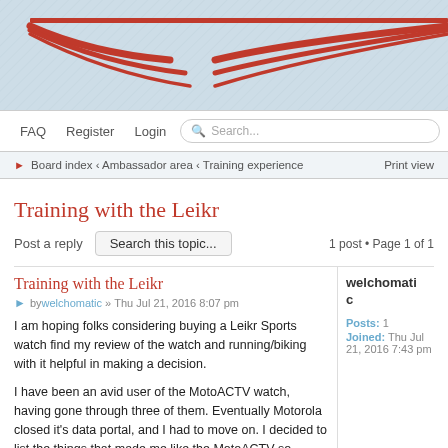[Figure (logo): Red wing logo marks on blue-grey banner background]
FAQ  Register  Login  Search...
Board index ‹ Ambassador area ‹ Training experience    Print view
Training with the Leikr
Post a reply    Search this topic...    1 post • Page 1 of 1
Training with the Leikr
by welchomatic » Thu Jul 21, 2016 8:07 pm
I am hoping folks considering buying a Leikr Sports watch find my review of the watch and running/biking with it helpful in making a decision.

I have been an avid user of the MotoACTV watch, having gone through three of them. Eventually Motorola closed it's data portal, and I had to move on. I decided to list the things that made me like the MotoACTV so much,and look for a watch that had those features. I
welchomatic
Posts: 1
Joined: Thu Jul 21, 2016 7:43 pm